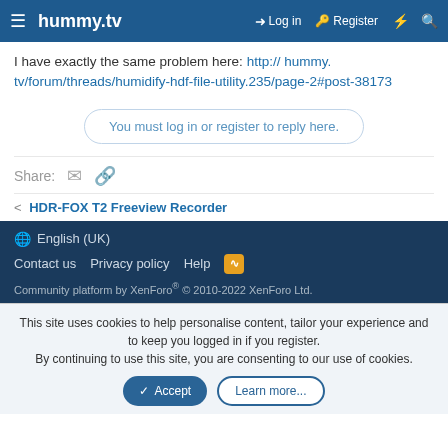hummy.tv  Log in  Register
I have exactly the same problem here: http://hummy.tv/forum/threads/humidify-hdf-file-utility.235/page-2#post-38173
You must log in or register to reply here.
Share:
< HDR-FOX T2 Freeview Recorder
English (UK)  Contact us  Privacy policy  Help  Community platform by XenForo® © 2010-2022 XenForo Ltd.
This site uses cookies to help personalise content, tailor your experience and to keep you logged in if you register. By continuing to use this site, you are consenting to our use of cookies.
Accept  Learn more...